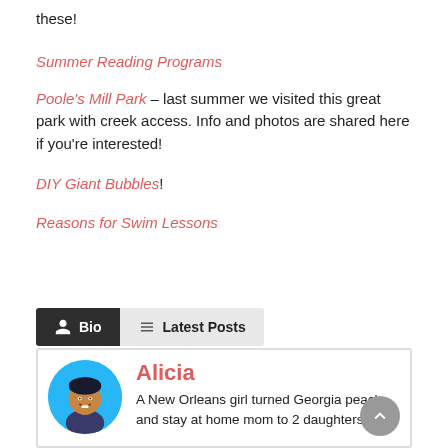these!
Summer Reading Programs
Poole's Mill Park – last summer we visited this great park with creek access. Info and photos are shared here if you're interested!
DIY Giant Bubbles!
Reasons for Swim Lessons
Bio | Latest Posts
Alicia
A New Orleans girl turned Georgia peach and stay at home mom to 2 daughters.